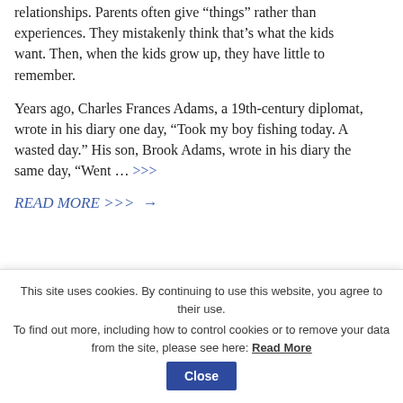relationships. Parents often give "things" rather than experiences. They mistakenly think that's what the kids want. Then, when the kids grow up, they have little to remember.
Years ago, Charles Frances Adams, a 19th-century diplomat, wrote in his diary one day, "Took my boy fishing today. A wasted day." His son, Brook Adams, wrote in his diary the same day, "Went … >>>
READ MORE >>> →
Back to Top
This site uses cookies. By continuing to use this website, you agree to their use. To find out more, including how to control cookies or to remove your data from the site, please see here: Read More